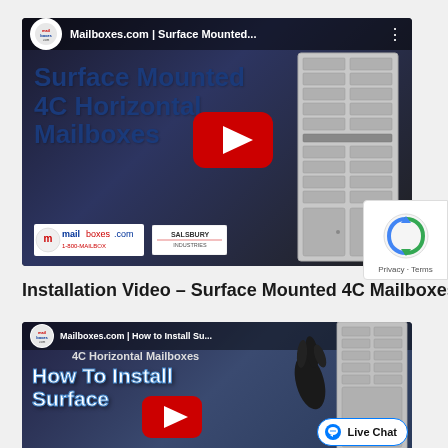[Figure (screenshot): YouTube video thumbnail for 'Mailboxes.com | Surface Mounted 4C Horizontal Mailboxes' showing blue bold text on dark background with YouTube play button and image of a multi-compartment mailbox unit on right. Mailboxes.com and Salsbury Industries logos at bottom left.]
[Figure (screenshot): reCAPTCHA widget overlay showing spinning arrows logo and 'Privacy - Terms' text]
Installation Video – Surface Mounted 4C Mailboxes
[Figure (screenshot): YouTube video thumbnail for 'Mailboxes.com | How to Install Su... 4C Horizontal Mailboxes' showing white/blue bold text 'How To Install Surface' on dark background with YouTube play button, mailbox unit and gloved hand on right. Live Chat button visible at bottom right.]